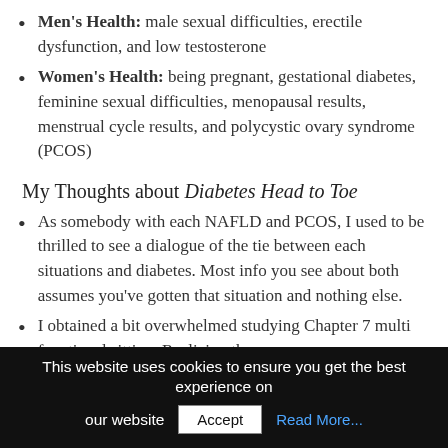Men's Health: male sexual difficulties, erectile dysfunction, and low testosterone
Women's Health: being pregnant, gestational diabetes, feminine sexual difficulties, menopausal results, menstrual cycle results, and polycystic ovary syndrome (PCOS)
My Thoughts about Diabetes Head to Toe
As somebody with each NAFLD and PCOS, I used to be thrilled to see a dialogue of the tie between each situations and diabetes. Most info you see about both assumes you've gotten that situation and nothing else.
I obtained a bit overwhelmed studying Chapter 7 multi functional sitting. Realizing the consequences
This website uses cookies to ensure you get the best experience on our website  Accept  Read More...